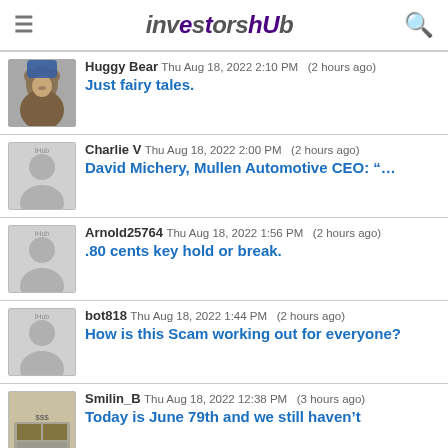investorshub
Huggy Bear   Thu Aug 18, 2022 2:10 PM   (2 hours ago)   Just fairy tales.
Charlie V   Thu Aug 18, 2022 2:00 PM   (2 hours ago)   David Michery, Mullen Automotive CEO: “…
Arnold25764   Thu Aug 18, 2022 1:56 PM   (2 hours ago)   .80 cents key hold or break.
bot818   Thu Aug 18, 2022 1:44 PM   (2 hours ago)   How is this Scam working out for everyone?
Smilin_B   Thu Aug 18, 2022 12:38 PM   (3 hours ago)   Today is June 79th and we still haven’t
maximumgriff   Thu Aug 18, 2022 10:14 AM   (6 hours ago)   This still holds true as it did when